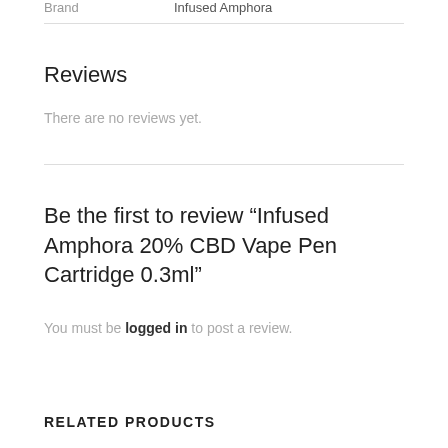| Brand |  |
| --- | --- |
| Brand | Infused Amphora |
Reviews
There are no reviews yet.
Be the first to review “Infused Amphora 20% CBD Vape Pen Cartridge 0.3ml”
You must be logged in to post a review.
RELATED PRODUCTS